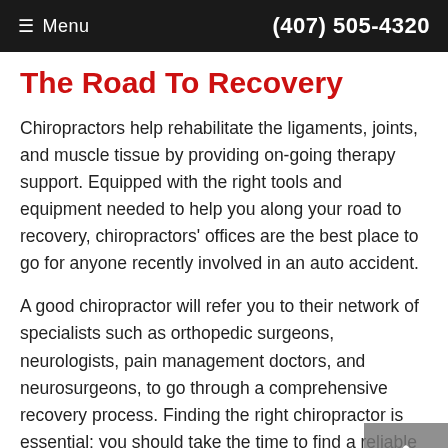≡ Menu   (407) 505-4320
The Road To Recovery
Chiropractors help rehabilitate the ligaments, joints, and muscle tissue by providing on-going therapy support. Equipped with the right tools and equipment needed to help you along your road to recovery, chiropractors' offices are the best place to go for anyone recently involved in an auto accident.
A good chiropractor will refer you to their network of specialists such as orthopedic surgeons, neurologists, pain management doctors, and neurosurgeons, to go through a comprehensive recovery process. Finding the right chiropractor is essential; you should take the time to find a reliable one in your area to ensure you